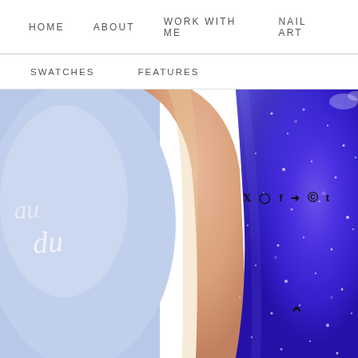HOME   ABOUT   WORK WITH ME   NAIL ART
SWATCHES   FEATURES
[Figure (photo): Close-up macro photograph of a fingernail painted with a shimmery blue-purple glitter nail polish, with a nail polish bottle in the background showing cursive white text on a lavender label.]